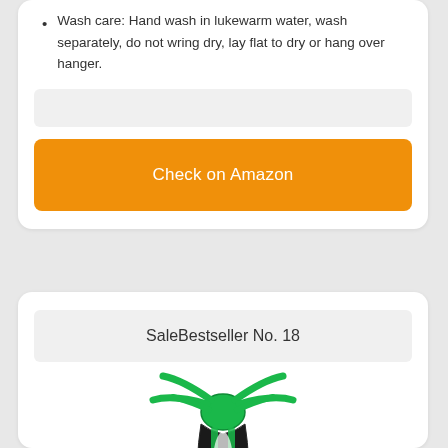Wash care: Hand wash in lukewarm water, wash separately, do not wring dry, lay flat to dry or hang over hanger.
Check on Amazon
SaleBestseller No. 18
[Figure (photo): Green and black corset/bustier product photo shown from above, with green ribbon straps fanning out at the top.]